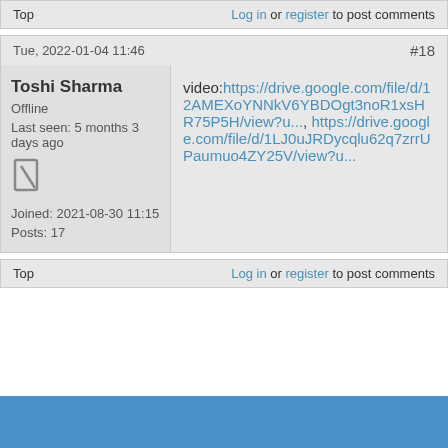Top   Log in or register to post comments
Tue, 2022-01-04 11:46   #18
Toshi Sharma
Offline
Last seen: 5 months 3 days ago
Joined: 2021-08-30 11:15
Posts: 17
video:https://drive.google.com/file/d/12AMEXoYNNkV6YBDOgt3noR1xsHR75P5H/view?u..., https://drive.google.com/file/d/1LJ0uJRDycqlu62q7zrrUPaumuo4ZY25V/view?u...
Top   Log in or register to post comments